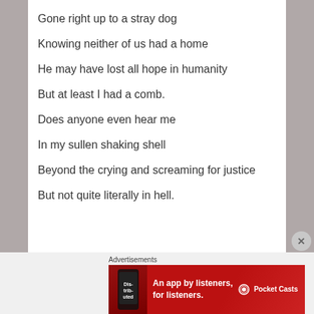Gone right up to a stray dog
Knowing neither of us had a home
He may have lost all hope in humanity
But at least I had a comb.
Does anyone even hear me
In my sullen shaking shell
Beyond the crying and screaming for justice
But not quite literally in hell.
[Figure (photo): Dark moody sky with silhouette of a bird, greens and grays]
Advertisements
[Figure (other): Pocket Casts advertisement banner: red background, phone image, text 'An app by listeners, for listeners.' with Pocket Casts logo]